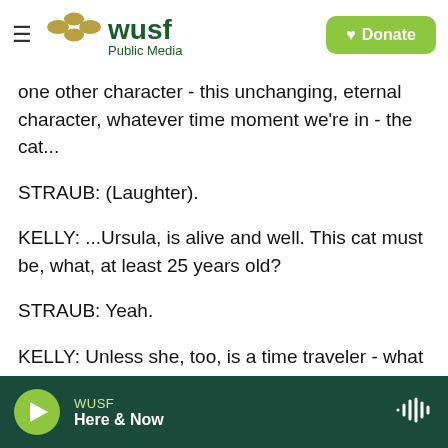WUSF Public Media — Donate
one other character - this unchanging, eternal character, whatever time moment we're in - the cat...
STRAUB: (Laughter).
KELLY: ...Ursula, is alive and well. This cat must be, what, at least 25 years old?
STRAUB: Yeah.
KELLY: Unless she, too, is a time traveler - what is it with Ursula?
WUSF Here & Now